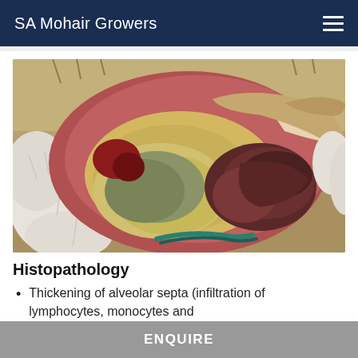SA Mohair Growers
[Figure (photo): Necropsy/autopsy photograph of an animal (likely a goat) showing open body cavity with visible internal organs including dark-colored liver/spleen, exposed viscera, on ground with hay and teal rope visible.]
Histopathology
Thickening of alveolar septa (infiltration of lymphocytes, monocytes and macrophages from the vessel). Thi...
ENQUIRE